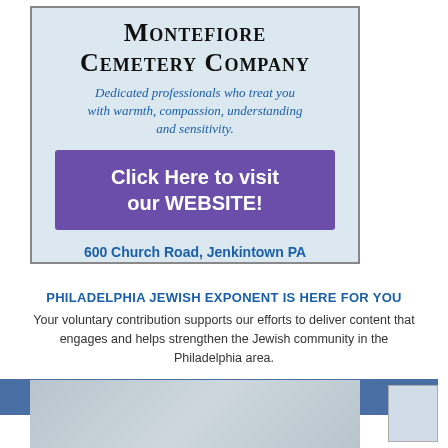[Figure (other): Advertisement for Montefiore Cemetery Company with light blue background, company name in serif bold, italic blue tagline, purple 'Click Here to visit our WEBSITE!' button, and address in blue]
PHILADELPHIA JEWISH EXPONENT IS HERE FOR YOU
Your voluntary contribution supports our efforts to deliver content that engages and helps strengthen the Jewish community in the Philadelphia area.
CONTRIBUTE
[Figure (photo): Faded background photo of people, partially visible at bottom of page]